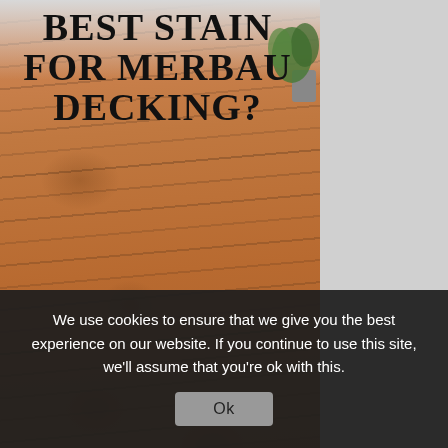[Figure (photo): Photograph of merbau decking boards with warm reddish-brown wood grain, viewed at an angle. Text overlay reads 'BEST STAIN FOR MERBAU DECKING?' in large bold uppercase letters. A plant in a gray pot is visible in the top right corner of the photo. The right portion of the page shows a gray background.]
We use cookies to ensure that we give you the best experience on our website. If you continue to use this site, we'll assume that you're ok with this.
Ok